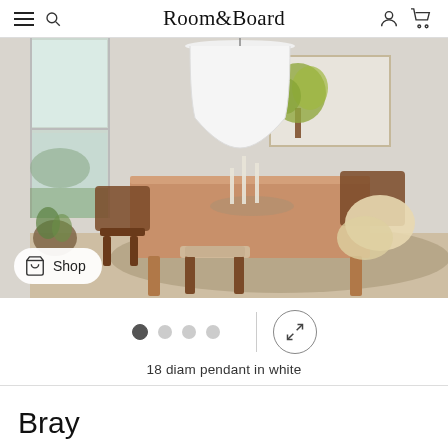Room&Board
[Figure (photo): Interior dining room photo showing a wood dining table with walnut chairs, a white dome pendant lamp, and artwork on the wall. A 'Shop' button overlay is in the bottom-left corner.]
18 diam pendant in white
Bray